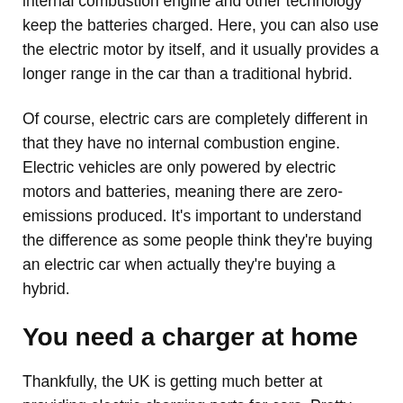internal combustion engine and other technology keep the batteries charged. Here, you can also use the electric motor by itself, and it usually provides a longer range in the car than a traditional hybrid.
Of course, electric cars are completely different in that they have no internal combustion engine. Electric vehicles are only powered by electric motors and batteries, meaning there are zero-emissions produced. It's important to understand the difference as some people think they're buying an electric car when actually they're buying a hybrid.
You need a charger at home
Thankfully, the UK is getting much better at providing electric charging ports for cars. Pretty much any car park or supermarket that you see will have a few spaces for electric vehicles to plug in and recharge. Office buildings are investing